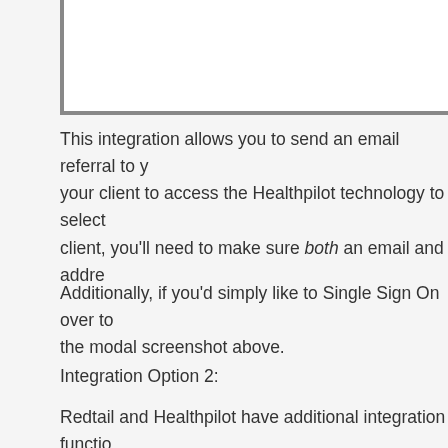[Figure (screenshot): Screenshot of a modal dialog, partially visible, showing a bordered white box with grey border lines at left and bottom edges.]
This integration allows you to send an email referral to your client to access the Healthpilot technology to select client, you'll need to make sure both an email and addre
Additionally, if you'd simply like to Single Sign On over to the modal screenshot above.
Integration Option 2:
Redtail and Healthpilot have additional integration functi My Clients' into the portal to send referrals from there in